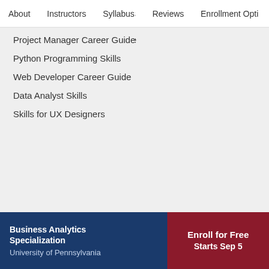About    Instructors    Syllabus    Reviews    Enrollment Opti
Project Manager Career Guide
Python Programming Skills
Web Developer Career Guide
Data Analyst Skills
Skills for UX Designers
Earn a degree or certificate online
MasterTrack® Certificates
Business Analytics Specialization
University of Pennsylvania
Enroll for Free
Starts Sep 5